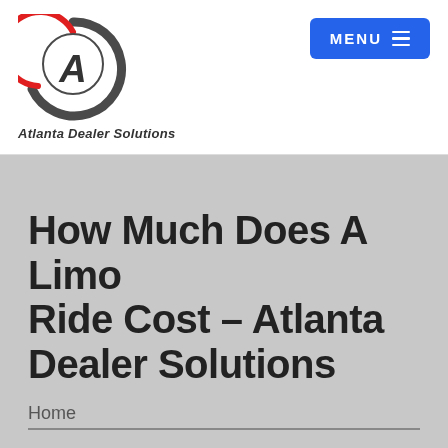[Figure (logo): Atlanta Dealer Solutions logo: circular icon with letter A, dark gray and red arc design]
Atlanta Dealer Solutions
[Figure (other): Blue MENU button with hamburger icon lines]
How Much Does A Limo Ride Cost – Atlanta Dealer Solutions
Home